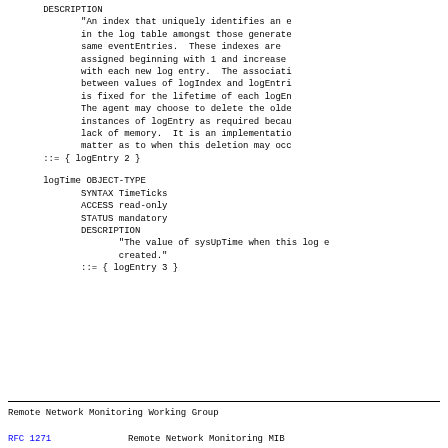DESCRIPTION
"An index that uniquely identifies an e
in the log table amongst those generate
same eventEntries.  These indexes are
assigned beginning with 1 and increase
with each new log entry.  The associati
between values of logIndex and logEntri
is fixed for the lifetime of each logEn
The agent may choose to delete the olde
instances of logEntry as required becau
lack of memory.  It is an implementatio
matter as to when this deletion may occ
::= { logEntry 2 }
logTime OBJECT-TYPE
    SYNTAX TimeTicks
    ACCESS read-only
    STATUS mandatory
    DESCRIPTION
        "The value of sysUpTime when this log e
        created."
    ::= { logEntry 3 }
Remote Network Monitoring Working Group
RFC 1271                Remote Network Monitoring MIB